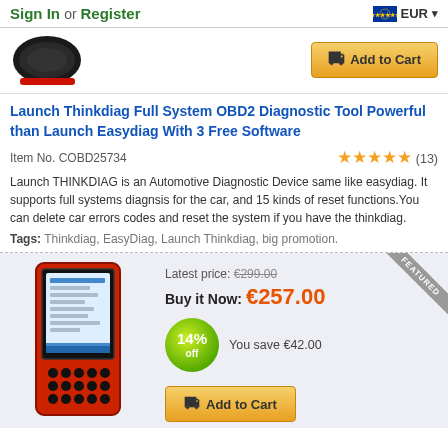Sign In or Register | EUR
[Figure (photo): Black round OBD2 device top view with red ring at bottom, partially visible at top of page]
Launch Thinkdiag Full System OBD2 Diagnostic Tool Powerful than Launch Easydiag With 3 Free Software
Item No. COBD25734  ★★★★★ (13)
Launch THINKDIAG is an Automotive Diagnostic Device same like easydiag. It supports full systems diagnsis for the car, and 15 kinds of reset functions.You can delete car errors codes and reset the system if you have the thinkdiag.
Tags: Thinkdiag, EasyDiag, Launch Thinkdiag, big promotion.
[Figure (photo): Red handheld OBD2 diagnostic scanner device with screen and buttons]
Latest price: €299.00
Buy it Now: €257.00
14% off  You save €42.00
Add to Cart